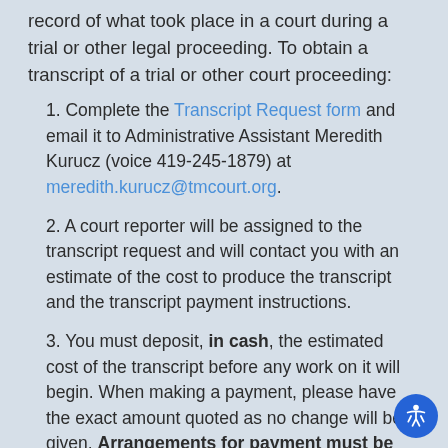record of what took place in a court during a trial or other legal proceeding. To obtain a transcript of a trial or other court proceeding:
1. Complete the Transcript Request form and email it to Administrative Assistant Meredith Kurucz (voice 419-245-1879) at meredith.kurucz@tmcourt.org.
2. A court reporter will be assigned to the transcript request and will contact you with an estimate of the cost to produce the transcript and the transcript payment instructions.
3. You must deposit, in cash, the estimated cost of the transcript before any work on it will begin. When making a payment, please have the exact amount quoted as no change will be given. Arrangements for payment must be made with a court reporter. A court reporter is the only court employee authorized to accept any form of payment for transctipts. This includes both deposits